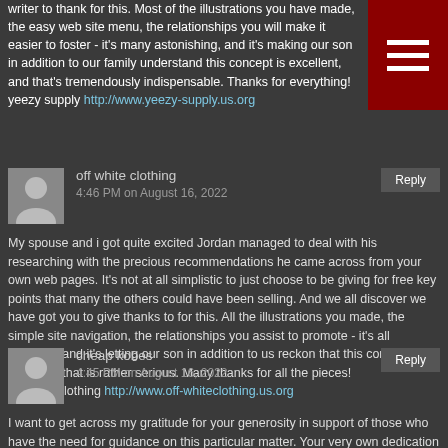writer to thank for this. Most of the illustrations you have made, the easy web site menu, the relationships you will make it easier to foster - it's many astonishing, and it's making our son in addition to our family understand this concept is excellent, and that's tremendously indispensable. Thanks for everything!
yeezy supply http://www.yeezy-supply.us.org
off white clothing
4:46 PM on August 16, 2022
Reply
My spouse and i got quite excited Jordan managed to deal with his researching with the precious recommendations he came across from your own web pages. It's not at all simplistic to just choose to be giving for free key points that many the others could have been selling. And we all discover we have got you to give thanks to for this. All the illustrations you made, the simple site navigation, the relationships you assist to promote - it's all amazing, and it's letting our son in addition to us reckon that this content is cool, and that is rather serious. Many thanks for all the pieces!
off white clothing http://www.off-whiteclothing.us.org
cheap kobes
4:45 PM on August 16, 2022
Reply
I want to get across my gratitude for your generosity in support of those who have the need for guidance on this particular matter. Your very own dedication to passing the solution along has been quite helpful and have specifically made most people like me to attain their